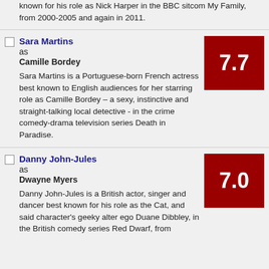...known for his role as Nick Harper in the BBC sitcom My Family, from 2000-2005 and again in 2011.
Sara Martins
as
Camille Bordey

Sara Martins is a Portuguese-born French actress best known to English audiences for her starring role as Camille Bordey – a sexy, instinctive and straight-talking local detective - in the crime comedy-drama television series Death in Paradise.
7.7
Danny John-Jules
as
Dwayne Myers

Danny John-Jules is a British actor, singer and dancer best known for his role as the Cat, and said character's geeky alter ego Duane Dibbley, in the British comedy series Red Dwarf, from
7.0